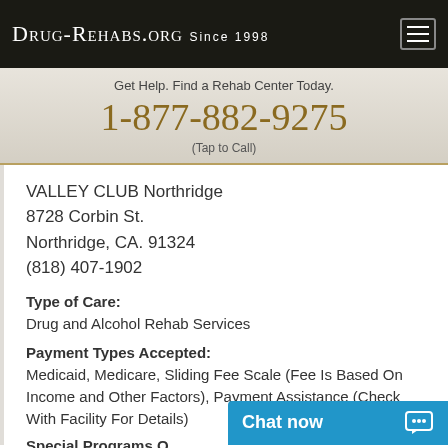Drug-Rehabs.org Since 1998
Get Help. Find a Rehab Center Today.
1-877-882-9275
(Tap to Call)
VALLEY CLUB Northridge
8728 Corbin St.
Northridge, CA. 91324
(818) 407-1902
Type of Care:
Drug and Alcohol Rehab Services
Payment Types Accepted:
Medicaid, Medicare, Sliding Fee Scale (Fee Is Based On Income and Other Factors), Payment Assistance (Check With Facility For Details)
Special Programs O...
Chat now